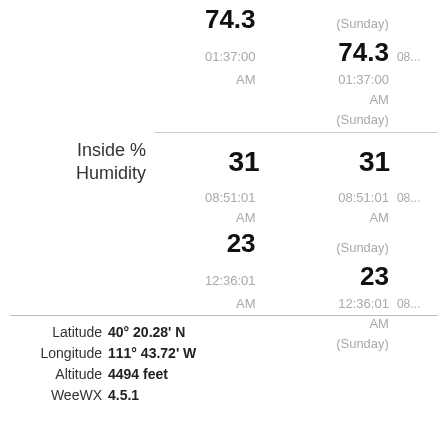|  | Col1 | Col2 | Col3 |
| --- | --- | --- | --- |
|  | 74.3 | (Sunday) |  |
|  | 01:37:00 | 74.3 | 08... |
|  | AM | 01:37:00 |  |
|  |  | AM |  |
|  |  | (Sunday) |  |
| Inside % Humidity | 31 | 31 |  |
|  | 08:51:01 | 08:51:01 | 08... |
|  | AM | AM |  |
|  | 23 | (Sunday) |  |
|  | 12:36:01 | 23 |  |
|  | AM | 12:36:01 | 08... |
|  |  | AM |  |
|  |  | (Sunday) |  |
Latitude 40° 20.28' N
Longitude 111° 43.72' W
Altitude 4494 feet
WeeWX 4.5.1